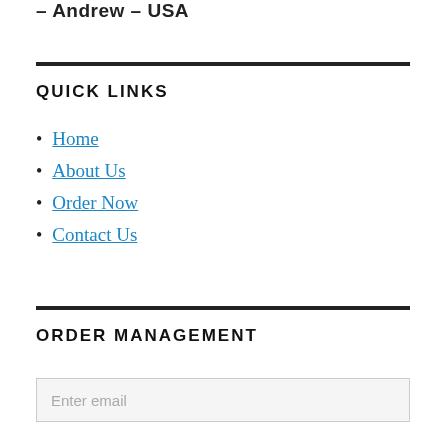– Andrew – USA
QUICK LINKS
Home
About Us
Order Now
Contact Us
ORDER MANAGEMENT
Enter email